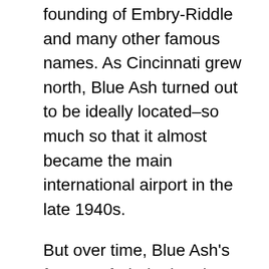founding of Embry-Riddle and many other famous names. As Cincinnati grew north, Blue Ash turned out to be ideally located–so much so that it almost became the main international airport in the late 1940s.
But over time, Blue Ash's fortunes faded. The airport was owned by the City of Cincinnati, but located in the city of Blue Ash. This turned out to be a bad mix, and Cincinnati seemed to lose interest. It began to show in the early 2000s, as the facilities started to crumble but the City turned down federal and state money to fix it up. After years of mis-management, pilots got the message and